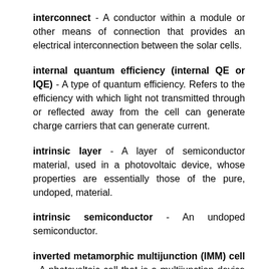interconnect - A conductor within a module or other means of connection that provides an electrical interconnection between the solar cells.
internal quantum efficiency (internal QE or IQE) - A type of quantum efficiency. Refers to the efficiency with which light not transmitted through or reflected away from the cell can generate charge carriers that can generate current.
intrinsic layer - A layer of semiconductor material, used in a photovoltaic device, whose properties are essentially those of the pure, undoped, material.
intrinsic semiconductor - An undoped semiconductor.
inverted metamorphic multijunction (IMM) cell - A photovoltaic cell that is a multijunction device whose layers of semiconductors are grown upside down.